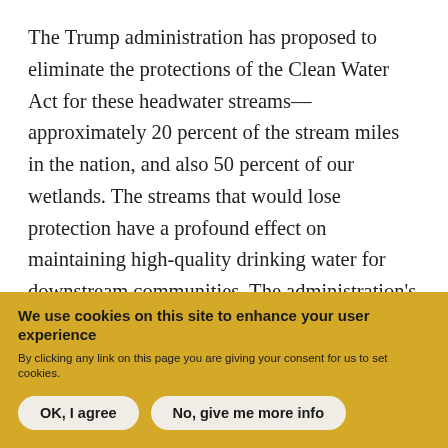The Trump administration has proposed to eliminate the protections of the Clean Water Act for these headwater streams—approximately 20 percent of the stream miles in the nation, and also 50 percent of our wetlands. The streams that would lose protection have a profound effect on maintaining high-quality drinking water for downstream communities. The administration's proposal makes losers of the more than one-third of Americans whose drinking water comes from these small rivers and streams that would
We use cookies on this site to enhance your user experience
By clicking any link on this page you are giving your consent for us to set cookies.
OK, I agree | No, give me more info